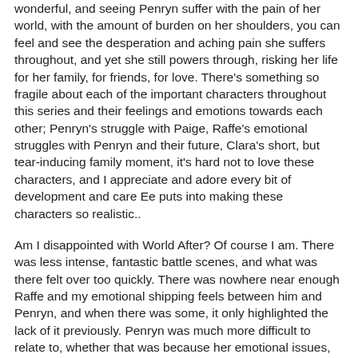wonderful, and seeing Penryn suffer with the pain of her world, with the amount of burden on her shoulders, you can feel and see the desperation and aching pain she suffers throughout, and yet she still powers through, risking her life for her family, for friends, for love. There's something so fragile about each of the important characters throughout this series and their feelings and emotions towards each other; Penryn's struggle with Paige, Raffe's emotional struggles with Penryn and their future, Clara's short, but tear-inducing family moment, it's hard not to love these characters, and I appreciate and adore every bit of development and care Ee puts into making these characters so realistic..
Am I disappointed with World After? Of course I am. There was less intense, fantastic battle scenes, and what was there felt over too quickly. There was nowhere near enough Raffe and my emotional shipping feels between him and Penryn, and when there was some, it only highlighted the lack of it previously. Penryn was much more difficult to relate to, whether that was because her emotional issues, her mental issues or just because she felt different without Raffe there with her, there was something that stopped me being as involved and connected to her. I still without a doubt adore